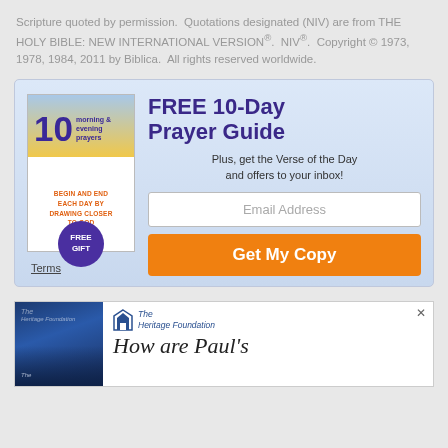Scripture quoted by permission.  Quotations designated (NIV) are from THE HOLY BIBLE: NEW INTERNATIONAL VERSION®.  NIV®.  Copyright © 1973, 1978, 1984, 2011 by Biblica.  All rights reserved worldwide.
[Figure (infographic): Advertisement box with light blue gradient background. Left side shows a book cover for '10 morning & evening prayers' with sky image, orange tagline 'BEGIN AND END EACH DAY BY DRAWING CLOSER TO GOD', and a purple FREE GIFT badge. Right side has dark purple heading 'FREE 10-Day Prayer Guide', subtitle 'Plus, get the Verse of the Day and offers to your inbox!', an email address input field, and an orange 'Get My Copy' button. Below the book is a 'Terms' underlined link.]
[Figure (infographic): Second advertisement for The Heritage Foundation showing a dark blue book cover on the left and The Heritage Foundation logo with italic text 'How are Paul's' partially visible on the right. An X close button in the top right corner.]